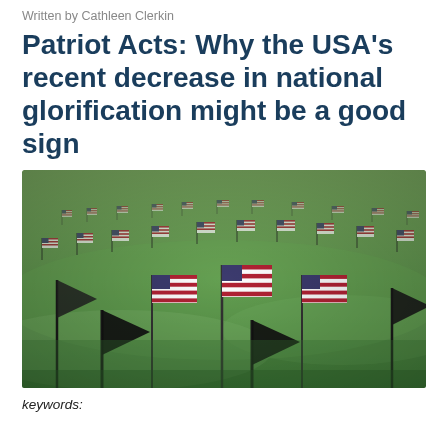Written by Cathleen Clerkin
Patriot Acts: Why the USA's recent decrease in national glorification might be a good sign
[Figure (photo): A green grass field filled with rows of small American flags planted in the ground, with many flags visible throughout the scene.]
keywords: